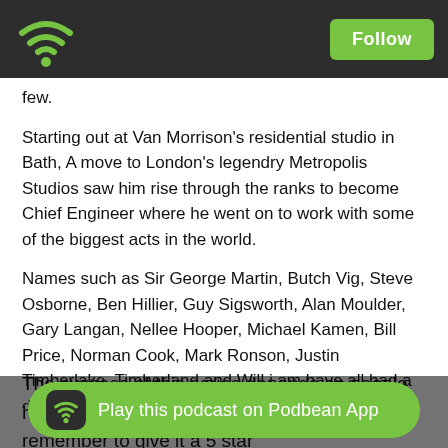Follow
few.
Starting out at Van Morrison's residential studio in Bath, A move to London's legendry Metropolis Studios saw him rise through the ranks to become Chief Engineer where he went on to work with some of the biggest acts in the world.
Names such as Sir George Martin, Butch Vig, Steve Osborne, Ben Hillier, Guy Sigsworth, Alan Moulder, Gary Langan, Nellee Hooper, Michael Kamen, Bill Price, Norman Cook, Mark Ronson, Justin Timberlake, Timberland and Will.i.am have all had a direct influence on his career.
Welcome Matt...
The success of this series depends on people hearing it so don't forget to tell your friends and remember to give it a 5 star r platform of choice to sure
[Figure (other): Play this podcast on Podbean App banner button at the bottom]